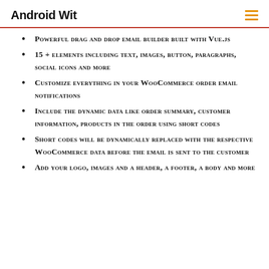Android Wit
Powerful drag and drop email builder built with Vue.js
15 + elements including text, images, button, paragraphs, social icons and more
Customize everything in your WooCommerce order email notifications
Include the dynamic data like order summary, customer information, products in the order using short codes
Short codes will be dynamically replaced with the respective WooCommerce data before the email is sent to the customer
Add your logo, images and a header, a footer, a body and more